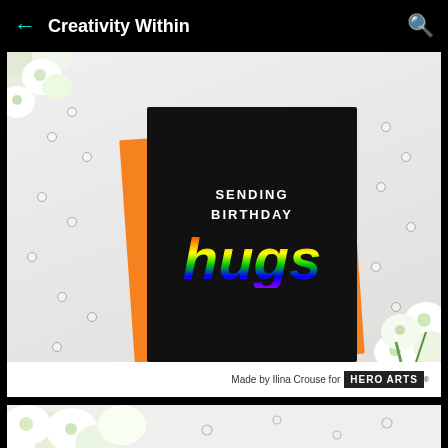Creativity Within
[Figure (photo): A handmade birthday card on a white wood surface. The black card reads 'SENDING BIRTHDAY hugs' in white text and rainbow script lettering. An orange envelope is visible behind the card. White flowers and clear sequins are scattered around. Bottom bar reads 'Made by Ilina Crouse for HERO ARTS']
Made by Ilina Crouse for HERO ARTS
[Figure (photo): Partial view of white flowers on a light background — bottom of page, cropped]